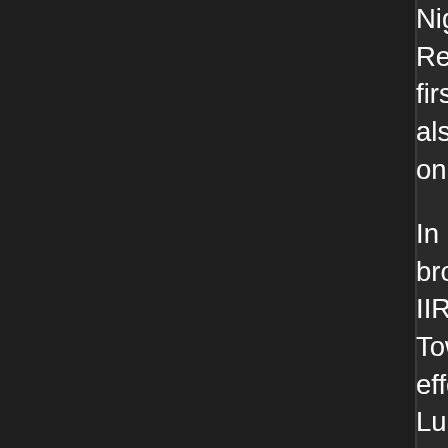Nightingale. My latter upgraded wore After Girl c... Refine Brand was also acquired; I ran into a lot o... first being a speed brand for my PC which was k... also had those (non-)unique specific brands whi... only used a handful of the great brands I had ou...
In Ninkasi's Sanctum, I was fortunate enough to... bronze offering; in fact, right before I encountere... IIRC, I already had two by that point, and I woul... Tower. I decided to give it Adept to help fight aga... effect enemies. Beyond it, I managed to get Bigf... Lure; the former helped out a lot in the link fight... Asura. With such a team, Tower:20+ mind-heavy... nonetheless, I also had a umdhlebi, and with all... put Calm on Slenderman just to protect my own... would definitely be focused down on by enemies... issue. Later on, I fused that umbdhlebi into a me... (given Enemy Lure, I would be outleveling many... marmoo and jorogumo on Tower:28, the latter re... a modified nuckelavee. On Tower:29 I used Call... Vorpal. I will note that because of my high level u... shift my party too much in the 20s floors. I also r... her because I wasn't willing to sacrifice any of m... don't pass up Ammit, but without a gold offering... negotiation. I did run into Mothman on Tower:29...